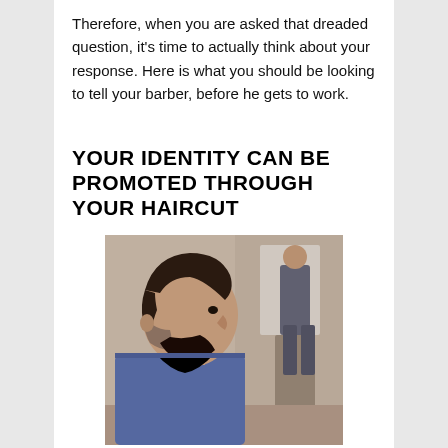Therefore, when you are asked that dreaded question, it's time to actually think about your response. Here is what you should be looking to tell your barber, before he gets to work.
YOUR IDENTITY CAN BE PROMOTED THROUGH YOUR HAIRCUT
[Figure (photo): A young man with a stylish haircut sitting in a barber shop, viewed from the side profile, with barber shop interior visible in the background.]
As we've already addressed, your haircut